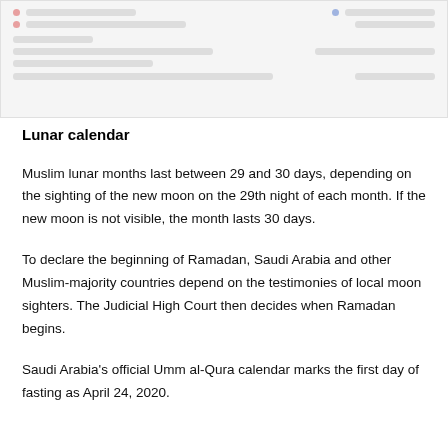[Figure (screenshot): Partial screenshot of a webpage or UI element visible at the top of the page]
Lunar calendar
Muslim lunar months last between 29 and 30 days, depending on the sighting of the new moon on the 29th night of each month. If the new moon is not visible, the month lasts 30 days.
To declare the beginning of Ramadan, Saudi Arabia and other Muslim-majority countries depend on the testimonies of local moon sighters. The Judicial High Court then decides when Ramadan begins.
Saudi Arabia's official Umm al-Qura calendar marks the first day of fasting as April 24, 2020.